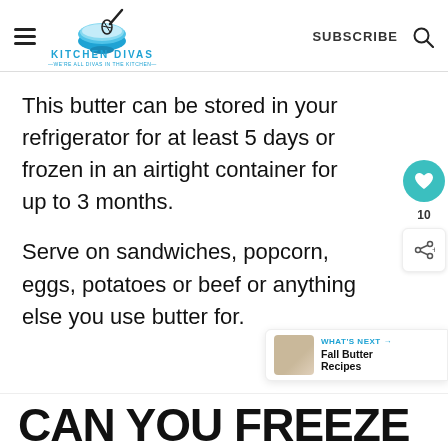KITCHEN DIVAS — WE'RE ALL DIVAS IN THE KITCHEN —
This butter can be stored in your refrigerator for at least 5 days or frozen in an airtight container for up to 3 months.
Serve on sandwiches, popcorn, eggs, potatoes or beef or anything else you use butter for.
CAN YOU FREEZE